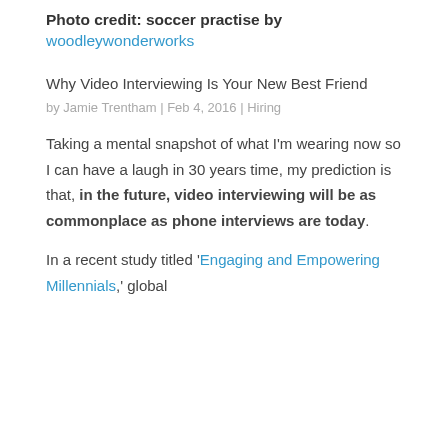Photo credit: soccer practise by woodleywonderworks
Why Video Interviewing Is Your New Best Friend
by Jamie Trentham | Feb 4, 2016 | Hiring
Taking a mental snapshot of what I'm wearing now so I can have a laugh in 30 years time, my prediction is that, in the future, video interviewing will be as commonplace as phone interviews are today.
In a recent study titled 'Engaging and Empowering Millennials,' global